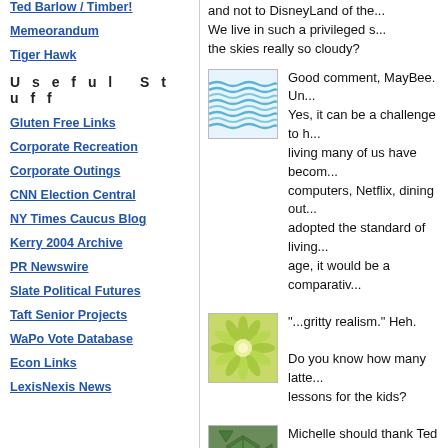Ted Barlow / Timber!
Memeorandum
Tiger Hawk
Useful Stuff
Gluten Free Links
Corporate Recreation
Corporate Outings
CNN Election Central
NY Times Caucus Blog
Kerry 2004 Archive
PR Newswire
Slate Political Futures
Taft Senior Projects
WaPo Vote Database
Econ Links
LexisNexis News
and not to DisneyLand of the... We live in such a privileged s... the skies really so cloudy?
[Figure (illustration): Blue wavy water/ocean pattern avatar image]
Good comment, MayBee. Un... Yes, it can be a challenge to h... living many of us have becom... computers, Netflix, dining out... adopted the standard of living... age, it would be a comparativ...
[Figure (illustration): Green flower/sunflower pattern avatar image]
"...gritty realism." Heh.

Do you know how many latte... lessons for the kids?
[Figure (illustration): Green geometric/honeycomb pattern avatar image]
Michelle should thank Ted Ke... Era of Bork, in which nothing...